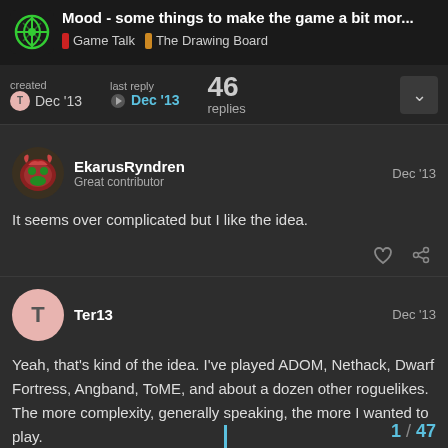Mood - some things to make the game a bit mor... | Game Talk | The Drawing Board
created Dec '13 | last reply Dec '13 | 46 replies
EkarusRyndren Dec '13
Great contributor

It seems over complicated but I like the idea.
Ter13 Dec '13

Yeah, that's kind of the idea. I've played ADOM, Nethack, Dwarf Fortress, Angband, ToME, and about a dozen other roguelikes. The more complexity, generally speaking, the more I wanted to play.
1 / 47